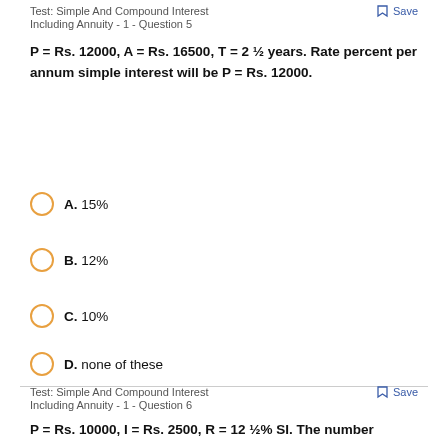Test: Simple And Compound Interest Including Annuity - 1 - Question 5
P = Rs. 12000, A = Rs. 16500, T = 2 ½ years. Rate percent per annum simple interest will be P = Rs. 12000.
A. 15%
B. 12%
C. 10%
D. none of these
Test: Simple And Compound Interest Including Annuity - 1 - Question 6
P = Rs. 10000, I = Rs. 2500, R = 12 ½% SI. The number of years T will be